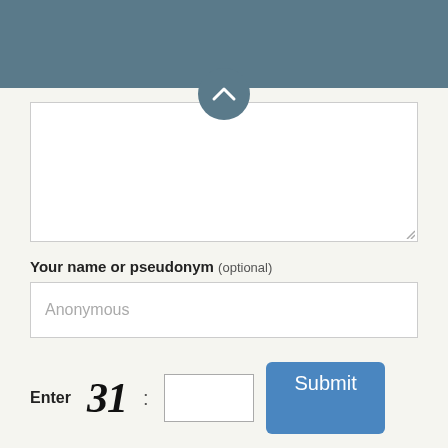[Figure (screenshot): Dark teal/blue-gray header bar at the top of the page]
[Figure (screenshot): Circular button with chevron/caret pointing upward, overlapping the header and textarea]
Your name or pseudonym (optional)
Anonymous
Enter 31 : [input] Submit